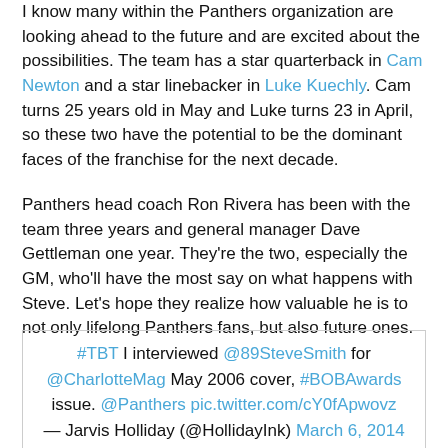I know many within the Panthers organization are looking ahead to the future and are excited about the possibilities. The team has a star quarterback in Cam Newton and a star linebacker in Luke Kuechly. Cam turns 25 years old in May and Luke turns 23 in April, so these two have the potential to be the dominant faces of the franchise for the next decade.
Panthers head coach Ron Rivera has been with the team three years and general manager Dave Gettleman one year. They're the two, especially the GM, who'll have the most say on what happens with Steve. Let's hope they realize how valuable he is to not only lifelong Panthers fans, but also future ones.
#TBT I interviewed @89SteveSmith for @CharlotteMag May 2006 cover, #BOBAwards issue. @Panthers pic.twitter.com/cY0fApwovz — Jarvis Holliday (@HollidayInk) March 6, 2014